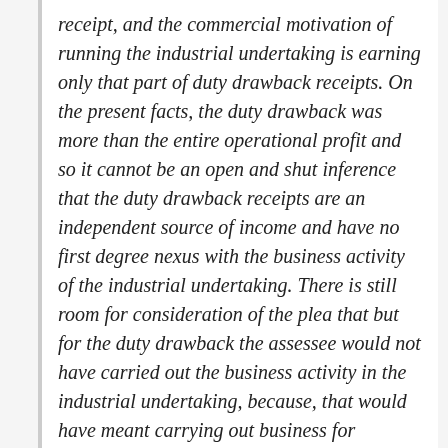receipt, and the commercial motivation of running the industrial undertaking is earning only that part of duty drawback receipts. On the present facts, the duty drawback was more than the entire operational profit and so it cannot be an open and shut inference that the duty drawback receipts are an independent source of income and have no first degree nexus with the business activity of the industrial undertaking. There is still room for consideration of the plea that but for the duty drawback the assessee would not have carried out the business activity in the industrial undertaking, because, that would have meant carrying out business for incurring losses. If that